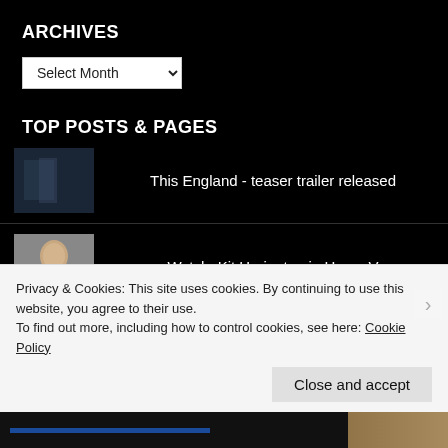ARCHIVES
Select Month
TOP POSTS & PAGES
This England - teaser trailer released
Watch: Kit Harington in Henry V
All star cast to voice The Smeds and The Smoos
Privacy & Cookies: This site uses cookies. By continuing to use this website, you agree to their use.
To find out more, including how to control cookies, see here: Cookie Policy
Close and accept